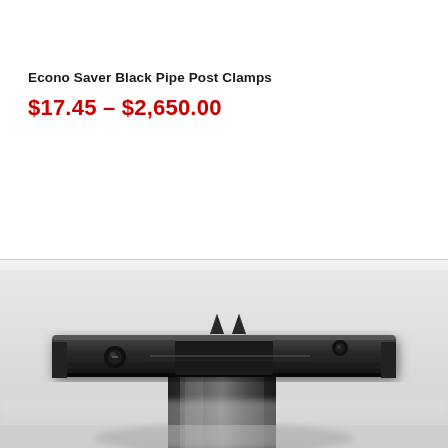Econo Saver Black Pipe Post Clamps
$17.45 – $2,650.00
[Figure (photo): Close-up photograph of a black metal pipe post clamp, showing a flat horizontal bracket with mounting holes and two raised prongs, attached to a cylindrical black pipe post, viewed from a low angle with shallow depth of field.]